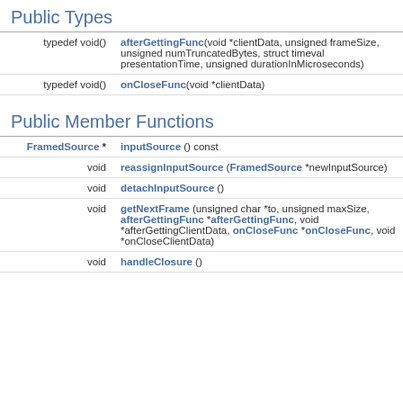Public Types
|  |  |
| --- | --- |
| typedef void() | afterGettingFunc(void *clientData, unsigned frameSize, unsigned numTruncatedBytes, struct timeval presentationTime, unsigned durationInMicroseconds) |
| typedef void() | onCloseFunc(void *clientData) |
Public Member Functions
|  |  |
| --- | --- |
| FramedSource * | inputSource () const |
| void | reassignInputSource (FramedSource *newInputSource) |
| void | detachInputSource () |
| void | getNextFrame (unsigned char *to, unsigned maxSize, afterGettingFunc *afterGettingFunc, void *afterGettingClientData, onCloseFunc *onCloseFunc, void *onCloseClientData) |
| void | handleClosure () |